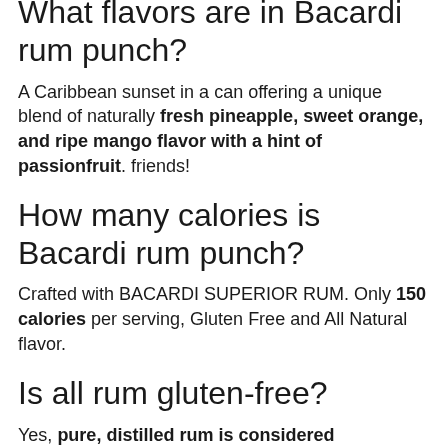What flavors are in Bacardi rum punch?
A Caribbean sunset in a can offering a unique blend of naturally fresh pineapple, sweet orange, and ripe mango flavor with a hint of passionfruit. friends!
How many calories is Bacardi rum punch?
Crafted with BACARDI SUPERIOR RUM. Only 150 calories per serving, Gluten Free and All Natural flavor.
Is all rum gluten-free?
Yes, pure, distilled rum is considered